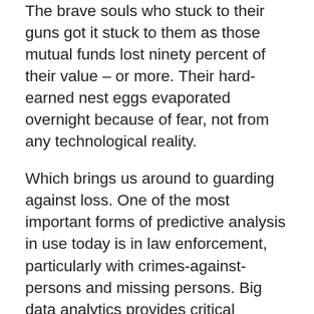The brave souls who stuck to their guns got it stuck to them as those mutual funds lost ninety percent of their value – or more. Their hard-earned nest eggs evaporated overnight because of fear, not from any technological reality.
Which brings us around to guarding against loss. One of the most important forms of predictive analysis in use today is in law enforcement, particularly with crimes-against-persons and missing persons. Big data analytics provides critical information in a timely manner. For these crimes, every second afterward is precious. Crime scene reconstruction may take place across a city or a nation as a perp is profiled, hunted and captured before harm can come to their human prey. At an international level, predictive analysis stops nefarious strategists and tacticians who practice their skills on the masses,